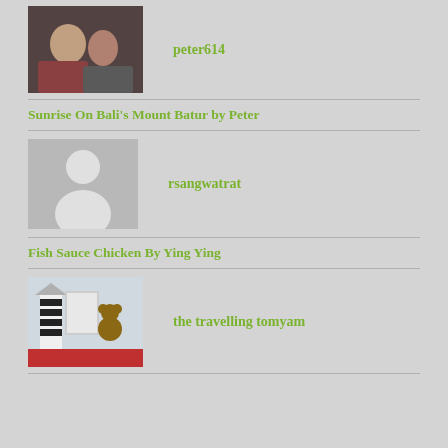[Figure (photo): Profile photo of peter614 — two people]
peter614
Sunrise On Bali's Mount Batur by Peter
[Figure (photo): Default avatar placeholder silhouette]
rsangwatrat
Fish Sauce Chicken By Ying Ying
[Figure (photo): Photo of lighthouse and teddy bear figurines on red surface]
the travelling tomyam